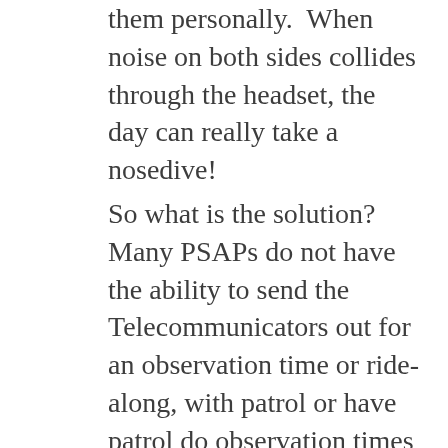them personally.  When noise on both sides collides through the headset, the day can really take a nosedive!
So what is the solution?  Many PSAPs do not have the ability to send the Telecommunicators out for an observation time or ride-along, with patrol or have patrol do observation times in the PSAP.  Short-staffed and liability challenges make this impossible for some areas.  Putting yourself in a patrol car with your public safety co-worker and having them come in and do observation for a couple of hours, is the best way to understand what each side faces every day.  I remember a day when a severe